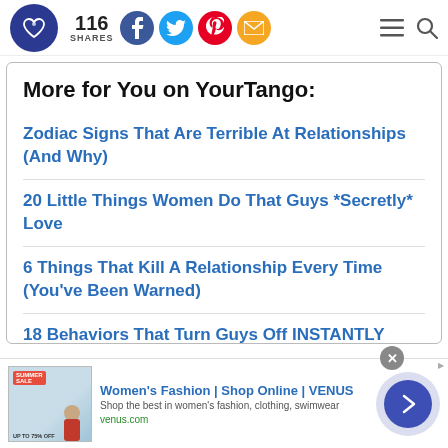YourTango — 116 SHARES
More for You on YourTango:
Zodiac Signs That Are Terrible At Relationships (And Why)
20 Little Things Women Do That Guys *Secretly* Love
6 Things That Kill A Relationship Every Time (You've Been Warned)
18 Behaviors That Turn Guys Off INSTANTLY (Even If
Women's Fashion | Shop Online | VENUS
Shop the best in women's fashion, clothing, swimwear
venus.com